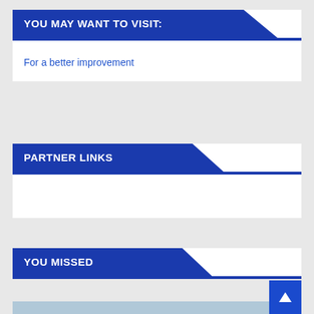YOU MAY WANT TO VISIT:
For a better improvement
PARTNER LINKS
YOU MISSED